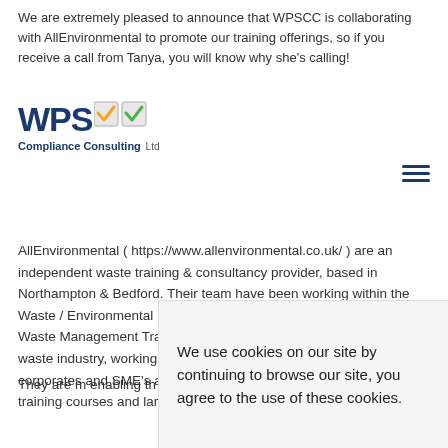We are extremely pleased to announce that WPSCC is collaborating with AllEnvironmental to promote our training offerings, so if you receive a call from Tanya, you will know why she's calling!
[Figure (logo): WPSCC logo with checkmark icons, text 'WPS' in dark blue bold, checkmark icon, 'Compliance Consulting Ltd' subtitle]
AllEnvironmental ( https://www.allenvironmental.co.uk/ ) are an independent waste training & consultancy provider, based in Northampton & Bedford. Their team have been working within the Waste / Environmental Industry for over 35 years and they deliver Waste Management Training courses covering every aspect of the waste industry, working with many different companies, including corporates and SME's across the UK, delivering workshops, one off training courses and large traini
They are m enabling th courses, m
We use cookies on our site by continuing to browse our site, you agree to the use of these cookies.